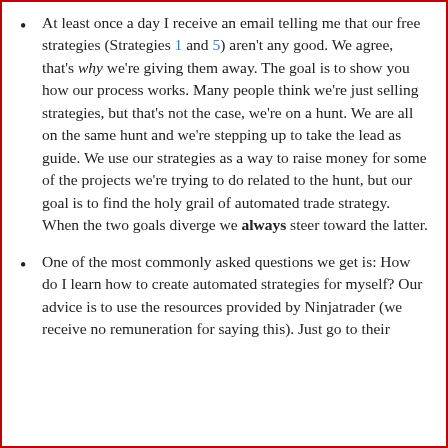At least once a day I receive an email telling me that our free strategies (Strategies 1 and 5) aren't any good. We agree, that's why we're giving them away. The goal is to show you how our process works. Many people think we're just selling strategies, but that's not the case, we're on a hunt. We are all on the same hunt and we're stepping up to take the lead as guide. We use our strategies as a way to raise money for some of the projects we're trying to do related to the hunt, but our goal is to find the holy grail of automated trade strategy. When the two goals diverge we always steer toward the latter.
One of the most commonly asked questions we get is: How do I learn how to create automated strategies for myself? Our advice is to use the resources provided by Ninjatrader (we receive no remuneration for saying this). Just go to their